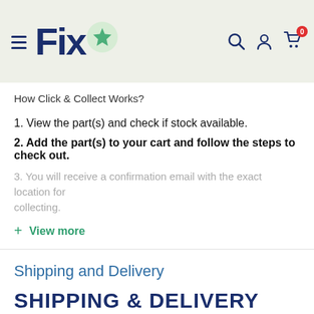Fixo [logo with star]
How Click & Collect Works?
1. View the part(s) and check if stock available.
2. Add the part(s) to your cart and follow the steps to check out.
3. You will receive a confirmation email with the exact location for collecting.
+ View more
Shipping and Delivery
SHIPPING & DELIVERY
SHIPPING